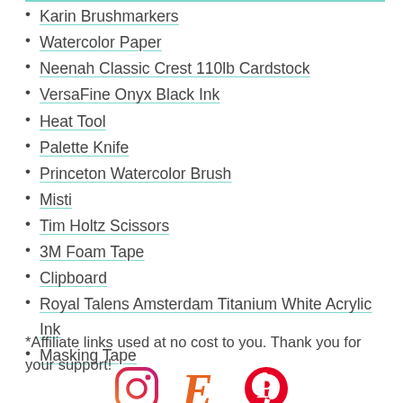Karin Brushmarkers
Watercolor Paper
Neenah Classic Crest 110lb Cardstock
VersaFine Onyx Black Ink
Heat Tool
Palette Knife
Princeton Watercolor Brush
Misti
Tim Holtz Scissors
3M Foam Tape
Clipboard
Royal Talens Amsterdam Titanium White Acrylic Ink
Masking Tape
*Affiliate links used at no cost to you. Thank you for your support!
[Figure (logo): Social media icons: Instagram, Etsy (E), Pinterest]